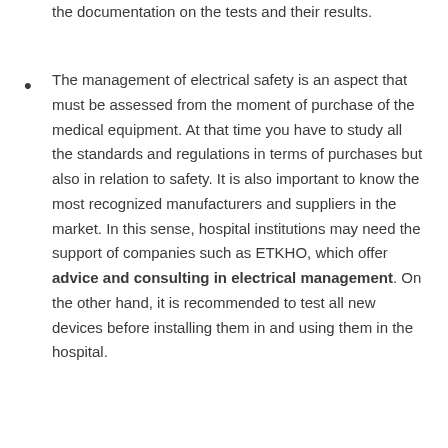the documentation on the tests and their results.
The management of electrical safety is an aspect that must be assessed from the moment of purchase of the medical equipment. At that time you have to study all the standards and regulations in terms of purchases but also in relation to safety. It is also important to know the most recognized manufacturers and suppliers in the market. In this sense, hospital institutions may need the support of companies such as ETKHO, which offer advice and consulting in electrical management. On the other hand, it is recommended to test all new devices before installing them in and using them in the hospital.